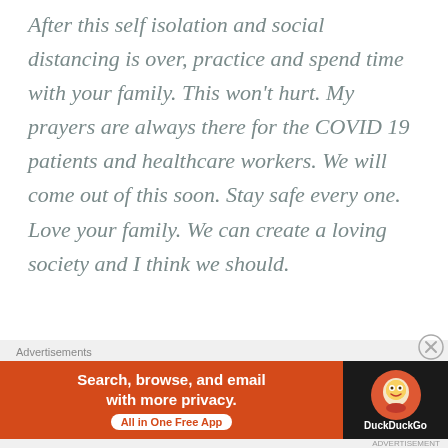After this self isolation and social distancing is over, practice and spend time with your family. This won't hurt. My prayers are always there for the COVID 19 patients and healthcare workers. We will come out of this soon. Stay safe every one. Love your family. We can create a loving society and I think we should.
[Figure (infographic): DuckDuckGo advertisement banner: orange left section with text 'Search, browse, and email with more privacy. All in One Free App' and dark right section with DuckDuckGo logo and brand name. 'Advertisements' label above the banner.]